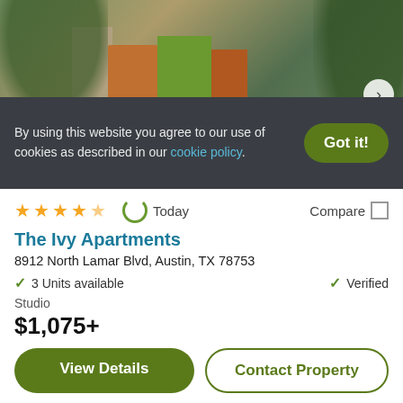[Figure (photo): Exterior photo of The Ivy Apartments showing modern building facades with orange and green paneling, stone columns, landscaping, and trees. Counter badge shows '1 of 24'.]
★★★★☆  Today  Compare □
The Ivy Apartments
8912 North Lamar Blvd, Austin, TX 78753
✓ 3 Units available   ✓ Verified
Studio
$1,075+
View Details  |  Contact Property
By using this website you agree to our use of cookies as described in our cookie policy.  Got it!